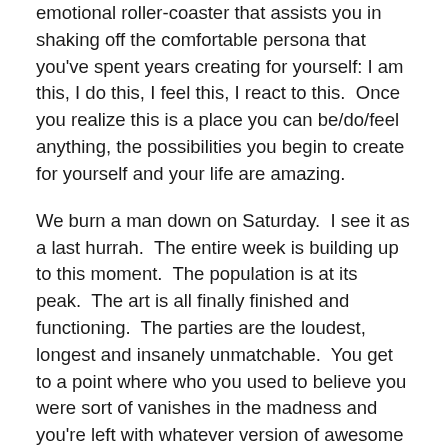emotional roller-coaster that assists you in shaking off the comfortable persona that you've spent years creating for yourself: I am this, I do this, I feel this, I react to this.  Once you realize this is a place you can be/do/feel anything, the possibilities you begin to create for yourself and your life are amazing.
We burn a man down on Saturday.  I see it as a last hurrah.  The entire week is building up to this moment.  The population is at its peak.  The art is all finally finished and functioning.  The parties are the loudest, longest and insanely unmatchable.  You get to a point where who you used to believe you were sort of vanishes in the madness and you're left with whatever version of awesome you have the nerve to continue being.
Then Sunday we burn the temple.  All week long people